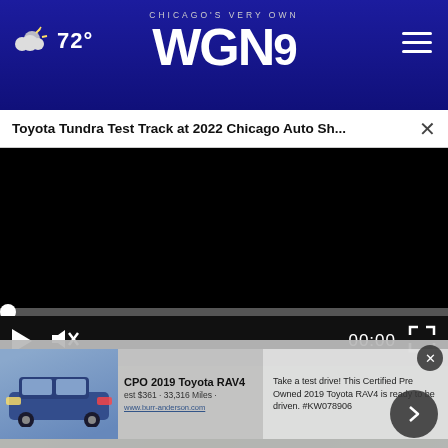72° WGN9 CHICAGO'S VERY OWN
Toyota Tundra Test Track at 2022 Chicago Auto Sh...
[Figure (screenshot): Black video player area with progress bar at bottom showing 00:00, play button, mute button, and fullscreen button on dark control bar]
[Figure (screenshot): Advertisement overlay showing a blue Toyota RAV4, CPO 2019 Toyota RAV4 listing with price details and a call-to-action arrow button]